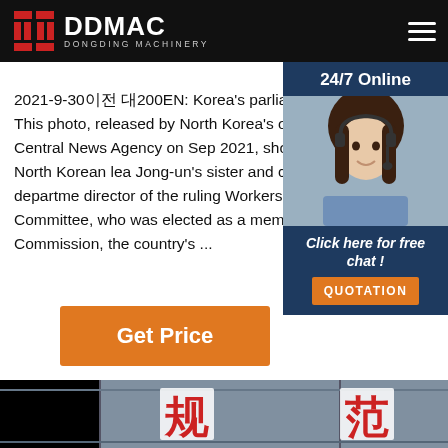DDMAC DONGDING MACHINERY
2021-9-30이전 대200EN: Korea's parliamentary session. This photo, released by North Korea's official Korean Central News Agency on Sep 2021, shows Kim Yo-jong, North Korean leader Jong-un's sister and currently vice department director of the ruling Workers' Party's Central Committee, who was elected as a member of State Affairs Commission, the country's ...
[Figure (photo): Customer service representative with headset, 24/7 Online chat widget with QUOTATION button]
[Figure (photo): Industrial facility interior with Chinese characters 规 and 范 on signs]
Get Price
Click here for free chat ! QUOTATION